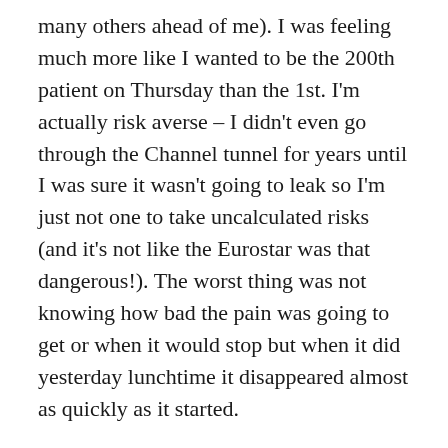many others ahead of me). I was feeling much more like I wanted to be the 200th patient on Thursday than the 1st. I'm actually risk averse – I didn't even go through the Channel tunnel for years until I was sure it wasn't going to leak so I'm just not one to take uncalculated risks (and it's not like the Eurostar was that dangerous!). The worst thing was not knowing how bad the pain was going to get or when it would stop but when it did yesterday lunchtime it disappeared almost as quickly as it started.
One thing which I had done at home was use a blood pressure cuff that I'd bought online – it's Omron's Bluetooth cuff (cost $180 here in Australia) and integrates with an app on my iPhone. I looked at the data today and you can actually see my falling blood pressure and rising